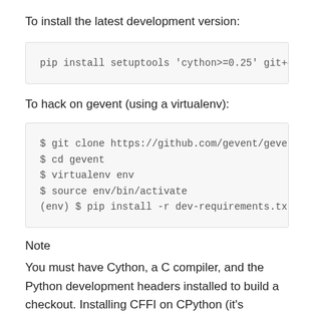To install the latest development version:
pip install setuptools 'cython>=0.25' git+git://gi
To hack on gevent (using a virtualenv):
$ git clone https://github.com/gevent/gevent.git
$ cd gevent
$ virtualenv env
$ source env/bin/activate
(env) $ pip install -r dev-requirements.txt
Note
You must have Cython, a C compiler, and the Python development headers installed to build a checkout. Installing CFFI on CPython (it's standard on PyPy) allows building the CFFI backend for